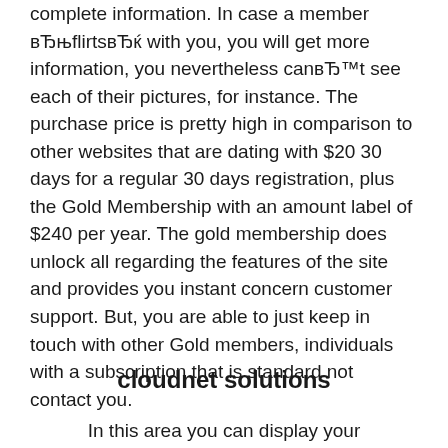complete information. In case a member вЂњflirtsвЂќ with you, you will get more information, you nevertheless canвЂ™t see each of their pictures, for instance. The purchase price is pretty high in comparison to other websites that are dating with $20 30 days for a regular 30 days registration, plus the Gold Membership with an amount label of $240 per year. The gold membership does unlock all regarding the features of the site and provides you instant concern customer support. But, you are able to just keep in touch with other Gold members, individuals with a subscription that is standard not contact you.
cloudnet solutions
In this area you can display your